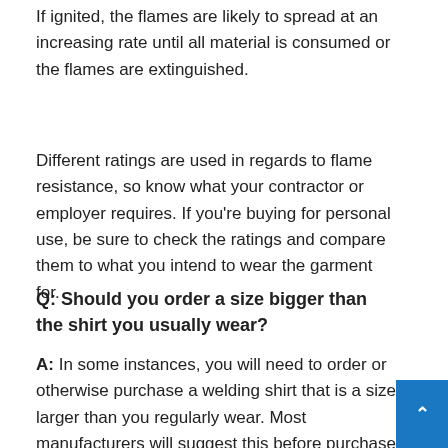If ignited, the flames are likely to spread at an increasing rate until all material is consumed or the flames are extinguished.
Different ratings are used in regards to flame resistance, so know what your contractor or employer requires. If you're buying for personal use, be sure to check the ratings and compare them to what you intend to wear the garment for.
Q: Should you order a size bigger than the shirt you usually wear?
A: In some instances, you will need to order or otherwise purchase a welding shirt that is a size larger than you regularly wear. Most manufacturers will suggest this before purchase if the sizes run small, however.